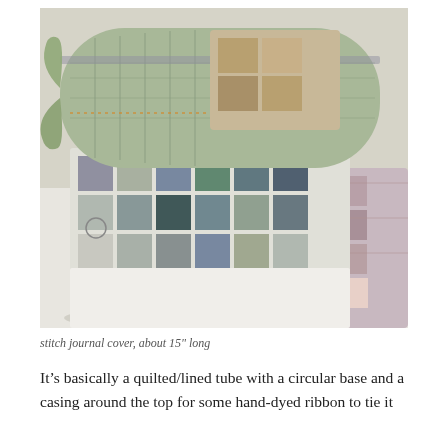[Figure (photo): A photograph showing rolled and folded quilted textile pieces on a light surface. The top item is a green quilted tube/roll with decorative fabric patches and a ribbon tie. Below it are two more rolled or folded quilted items with patchwork fabric in blue, grey, pink, and multicolored patterns.]
stitch journal cover, about 15" long
It's basically a quilted/lined tube with a circular base and a casing around the top for some hand-dyed ribbon to tie it